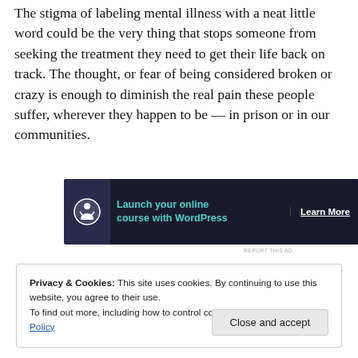The stigma of labeling mental illness with a neat little word could be the very thing that stops someone from seeking the treatment they need to get their life back on track. The thought, or fear of being considered broken or crazy is enough to diminish the real pain these people suffer, wherever they happen to be — in prison or in our communities.
[Figure (other): Advertisement banner: dark navy background with a circular icon, text 'Launch your online course with WordPress' in teal, and a 'Learn More' button.]
Privacy & Cookies: This site uses cookies. By continuing to use this website, you agree to their use.
To find out more, including how to control cookies, see here: Cookie Policy